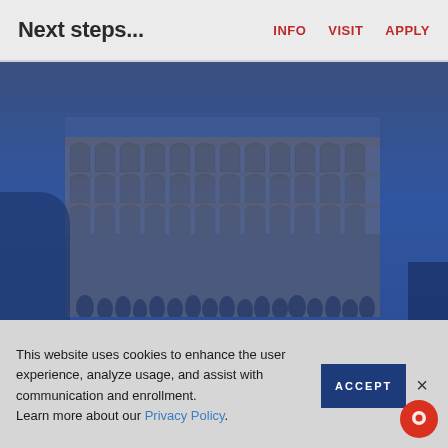Next steps...
INFO   VISIT   APPLY
[Figure (photo): A group of students posed inside the Colosseum in Rome, Italy, with the ancient arched walls visible behind them. The image has a blue overlay tint.]
This website uses cookies to enhance the user experience, analyze usage, and assist with communication and enrollment.
Learn more about our Privacy Policy.